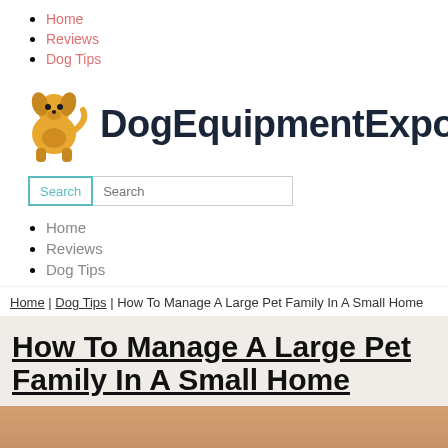Home
Reviews
Dog Tips
[Figure (illustration): Yellow/gold cartoon dog sitting, used as website logo]
DogEquipmentExpo
Search [button] Search [input]
Home
Reviews
Dog Tips
Home | Dog Tips | How To Manage A Large Pet Family In A Small Home
How To Manage A Large Pet Family In A Small Home
[Figure (photo): Close-up photo of a dog or pet, warm beige/tan tones, partially visible at bottom of page]